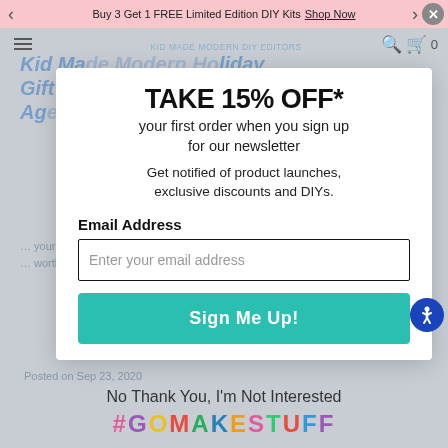Buy 3 Get 1 FREE Limited Edition DIY Kits Shop Now
Kid Made Modern Holiday Gift Guide: Gifts for Toddlers Age and Up
TAKE 15% OFF*
your first order when you sign up for our newsletter
Get notified of product launches, exclusive discounts and DIYs.
Email Address
Enter your email address
Sign Me Up!
No Thank You, I'm Not Interested
#GOMAKESTUFF